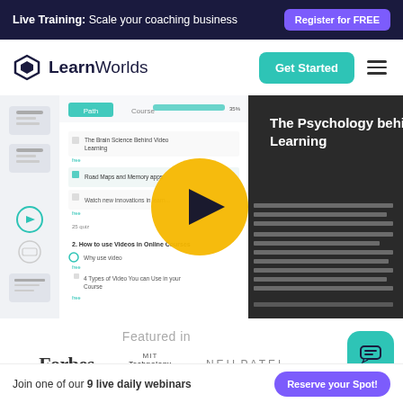Live Training: Scale your coaching business — Register for FREE
[Figure (logo): LearnWorlds logo with diamond icon and wordmark]
Get Started
[Figure (screenshot): Screenshot of LearnWorlds course platform showing video lesson on The Brain Science behind Video Learning with a play button overlay and course navigation sidebar]
Featured in
[Figure (logo): Forbes logo]
[Figure (logo): MIT Technology Review logo]
[Figure (logo): Neil Patel logo]
Join one of our 9 live daily webinars — Reserve your Spot!